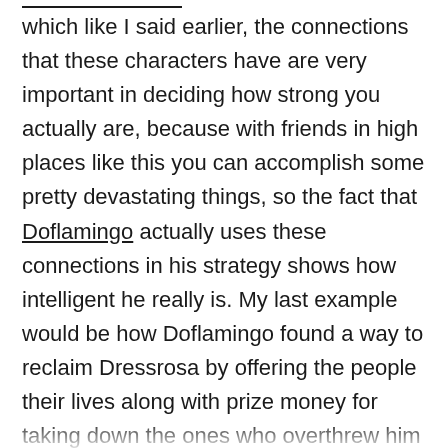which like I said earlier, the connections that these characters have are very important in deciding how strong you actually are, because with friends in high places like this you can accomplish some pretty devastating things, so the fact that Doflamingo actually uses these connections in his strategy shows how intelligent he really is. My last example would be how Doflamingo found a way to reclaim Dressrosa by offering the people their lives along with prize money for taking down the ones who overthrew him in the first place, which moved most people back to his side of the playing field for a little while at least. This example here truly shows that even if Doflamingo is seemingly backed into a corner or his plans are crumbling beneath him, he can still quickly think of a way to turn the